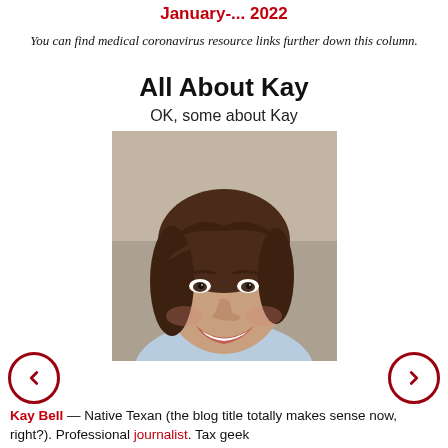January-... 2022
You can find medical coronavirus resource links further down this column.
All About Kay
OK, some about Kay
[Figure (photo): Portrait photo of Kay Bell, a woman with brown hair and a blue shirt, smiling]
Kay Bell — Native Texan (the blog title totally makes sense now, right?). Professional journalist. Tax geek